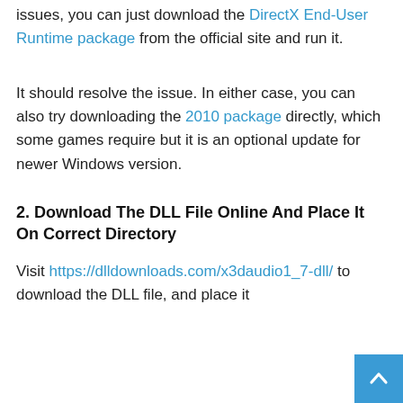issues, you can just download the DirectX End-User Runtime package from the official site and run it.
It should resolve the issue. In either case, you can also try downloading the 2010 package directly, which some games require but it is an optional update for newer Windows version.
2. Download The DLL File Online And Place It On Correct Directory
Visit https://dlldownloads.com/x3daudio1_7-dll/ to download the DLL file, and place it